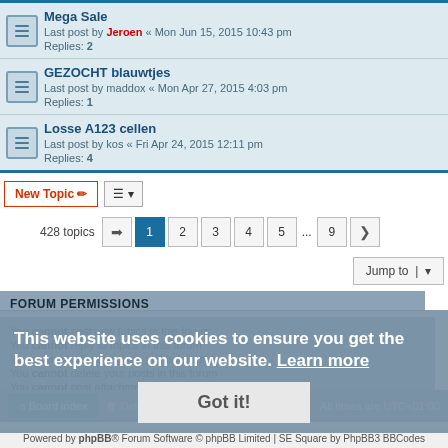Mega Sale - Last post by Jeroen « Mon Jun 15, 2015 10:43 pm - Replies: 2
GEZOCHT blauwtjes - Last post by maddox « Mon Apr 27, 2015 4:03 pm - Replies: 1
Losse A123 cellen - Last post by kos « Fri Apr 24, 2015 12:11 pm - Replies: 4
428 topics  1 2 3 4 5 ... 9
FORUM PERMISSIONS
You cannot post new topics in this forum
You cannot reply to topics in this forum
You cannot edit your posts in this forum
You cannot delete your posts in this forum
You cannot post attachments in this forum
This website uses cookies to ensure you get the best experience on our website. Learn more
Board index | Delete cookies | All times are UTC+01:00
Powered by phpBB® Forum Software © phpBB Limited | SE Square by PhpBB3 BBCodes